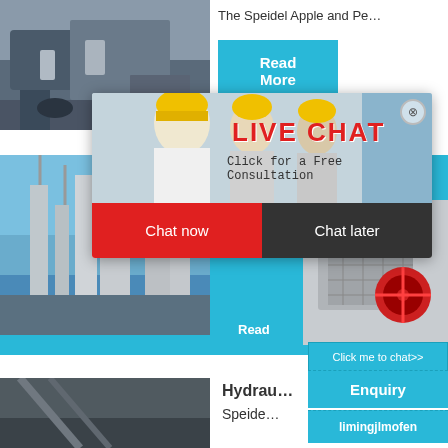[Figure (photo): Heavy machinery/crusher equipment on a job site, grey and blue tones]
The Speidel Apple and Pe…
Read More
[Figure (photo): Industrial factory with tall chimneys and processing towers against blue sky]
S
hour online
D
[Figure (photo): Industrial crusher machine in grey and red]
Read
[Figure (photo): Live chat popup showing woman and workers in yellow hard hats]
LIVE CHAT
Click for a Free Consultation
Chat now
Chat later
Click me to chat>>
Enquiry
limingjlmofen
[Figure (photo): Dark mechanical part/pipe close-up]
Hydrau…
Speide…